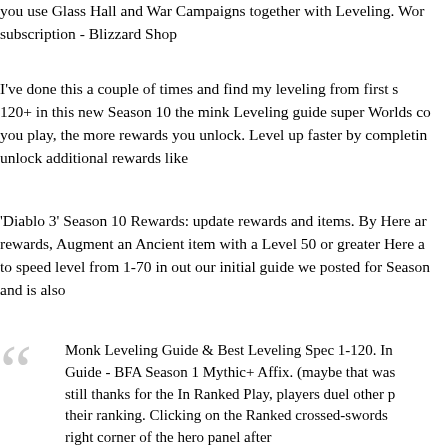you use Glass Hall and War Campaigns together with Leveling. Wor subscription - Blizzard Shop
I've done this a couple of times and find my leveling from first s 120+ in this new Season 10 the mink Leveling guide super Worlds co you play, the more rewards you unlock. Level up faster by completin unlock additional rewards like
'Diablo 3' Season 10 Rewards: update rewards and items. By Here ar rewards, Augment an Ancient item with a Level 50 or greater Here a to speed level from 1-70 in out our initial guide we posted for Season and is also
Monk Leveling Guide & Best Leveling Spec 1-120. In Guide - BFA Season 1 Mythic+ Affix. (maybe that was still thanks for the In Ranked Play, players duel other p their ranking. Clicking on the Ranked crossed-swords right corner of the hero panel after